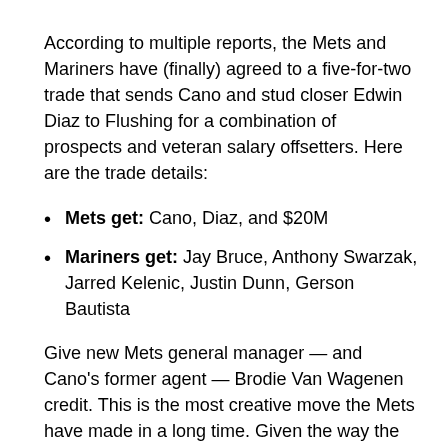According to multiple reports, the Mets and Mariners have (finally) agreed to a five-for-two trade that sends Cano and stud closer Edwin Diaz to Flushing for a combination of prospects and veteran salary offsetters. Here are the trade details:
Mets get: Cano, Diaz, and $20M
Mariners get: Jay Bruce, Anthony Swarzak, Jarred Kelenic, Justin Dunn, Gerson Bautista
Give new Mets general manager — and Cano's former agent — Brodie Van Wagenen credit. This is the most creative move the Mets have made in a long time. Given the way the money works — including Bruce and Swarzak means this trade is